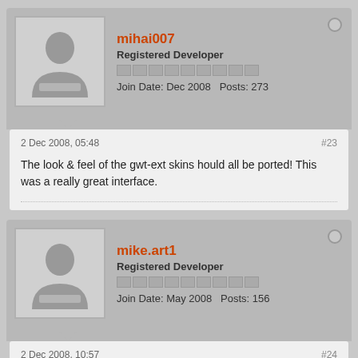mihai007 — Registered Developer — Join Date: Dec 2008   Posts: 273
2 Dec 2008, 05:48   #23
The look & feel of the gwt-ext skins hould all be ported! This was a really great interface.
mike.art1 — Registered Developer — Join Date: May 2008   Posts: 156
2 Dec 2008, 10:57   #24
Any word on when we can see a beta version of the new skins.
New